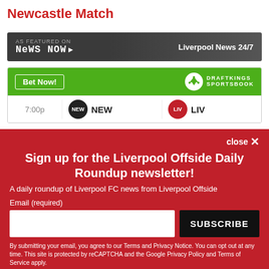Newcastle Match
[Figure (infographic): News Now banner: AS FEATURED ON News Now > | Liverpool News 24/7]
[Figure (infographic): DraftKings Sportsbook widget with Bet Now button. Match row showing 7:00p, NEW (Newcastle) vs LIV (Liverpool)]
Sign up for the Liverpool Offside Daily Roundup newsletter!
A daily roundup of Liverpool FC news from Liverpool Offside
Email (required)
SUBSCRIBE
By submitting your email, you agree to our Terms and Privacy Notice. You can opt out at any time. This site is protected by reCAPTCHA and the Google Privacy Policy and Terms of Service apply.